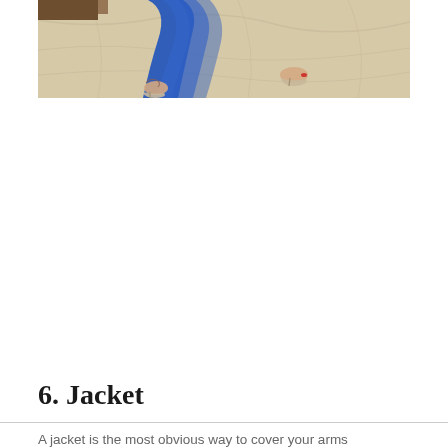[Figure (photo): Cropped photograph showing the lower half of a person wearing a blue flowing dress/skirt and silver sandals, standing on a beige marble floor. A wooden surface is partially visible at the top.]
6. Jacket
A jacket is the most obvious way to cover your arms